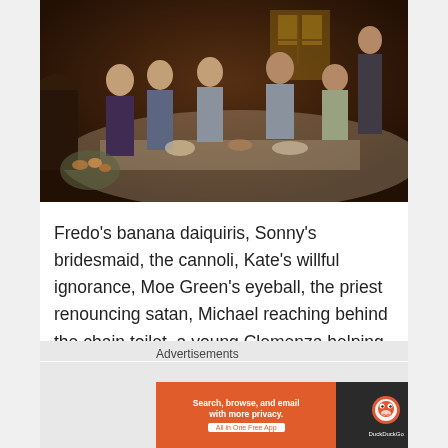[Figure (photo): A dark, warm-toned cinematic still from The Godfather showing a large family dinner scene with multiple characters seated around a long table in a dimly lit room. People are eating, talking, and drinking.]
Fredo's banana daiquiris, Sonny's bridesmaid, the cannoli, Kate's willful ignorance, Moe Green's eyeball, the priest renouncing satan, Michael reaching behind the chain toilet, a young Clemenza helping himself to a rug.
Advertisements
[Figure (screenshot): DuckDuckGo advertisement banner. Left side orange background reads 'Search, browse, and email with more privacy. All in One Free App'. Right side dark background with DuckDuckGo logo.]